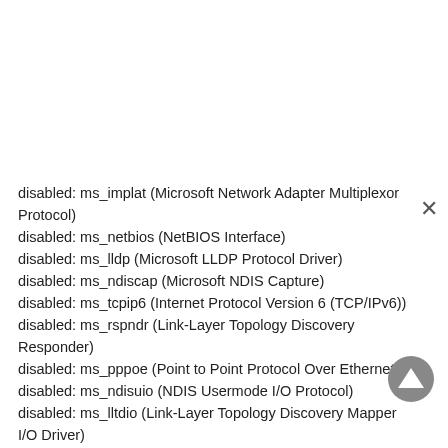disabled: ms_implat (Microsoft Network Adapter Multiplexor Protocol)
disabled: ms_netbios (NetBIOS Interface)
disabled: ms_lldp (Microsoft LLDP Protocol Driver)
disabled: ms_ndiscap (Microsoft NDIS Capture)
disabled: ms_tcpip6 (Internet Protocol Version 6 (TCP/IPv6))
disabled: ms_rspndr (Link-Layer Topology Discovery Responder)
disabled: ms_pppoe (Point to Point Protocol Over Ethernet)
disabled: ms_ndisuio (NDIS Usermode I/O Protocol)
disabled: ms_lltdio (Link-Layer Topology Discovery Mapper I/O Driver)
disabled: ms_server (File and Printer Sharing for Microsoft Networks)
disabled: ms_wfplwf_upper (WFP 802.3 MAC Layer LightWeight Filter)
disabled: ms_netbt (WINS Client(TCP/IP) Protocol)
disabled: ms_msclient (Client for Microsoft Networks)